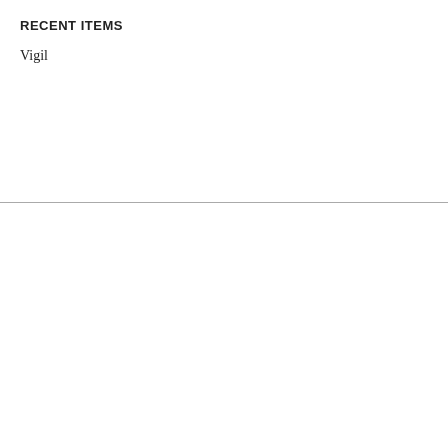RECENT ITEMS
Vigil
Email us
info@culturematters.org.u
[Figure (logo): Twitter logo button — cyan/blue rounded rectangle with white 'twitter' text and bird icon]